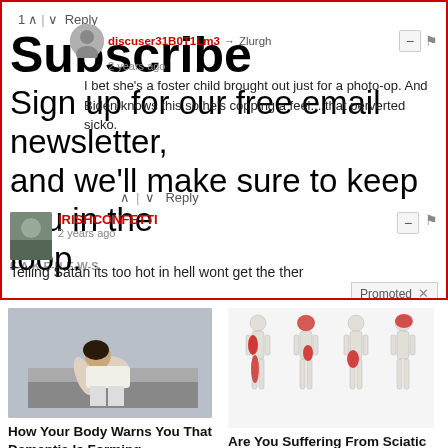1 ^ v Reply
discuser31B0T1Lm3 → Zlurgh
2 years ago
I bet she's a foster child brought out just for a photo-op. And Biden knows this so he's copping a feel....that perverted sicko.
Subscribe
Sign up for our free email newsletter, and we'll make sure to keep you in the loop.
Reply
IRISHCONFETTI
2 years ago
Telling Satan its too hot in hell wont get the ther
Promoted X
[Figure (photo): Person sitting hunched over on a bed]
How Your Body Warns You That Dementia Is Forming
🔥 68,836
[Figure (illustration): Medical illustration of human body silhouettes showing sciatic nerve pain areas highlighted in red]
Are You Suffering From Sciatic Nerve Pain? Find Out Why
🔥 6,961